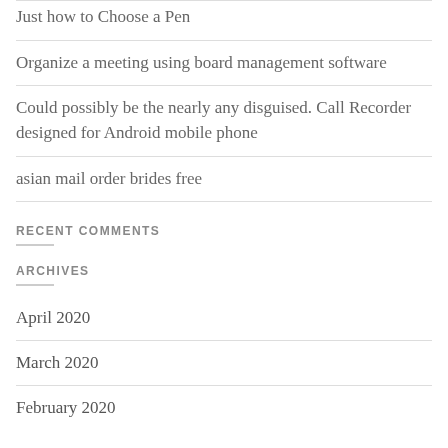Just how to Choose a Pen
Organize a meeting using board management software
Could possibly be the nearly any disguised. Call Recorder designed for Android mobile phone
asian mail order brides free
RECENT COMMENTS
ARCHIVES
April 2020
March 2020
February 2020